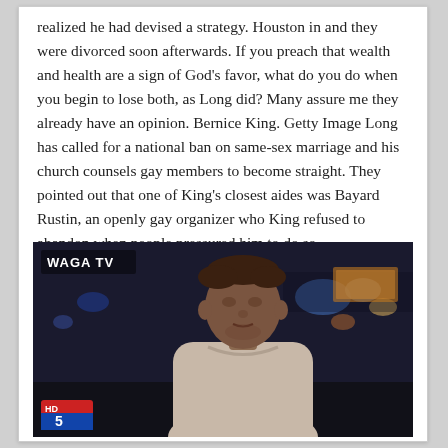realized he had devised a strategy. Houston in and they were divorced soon afterwards. If you preach that wealth and health are a sign of God's favor, what do you do when you begin to lose both, as Long did? Many assure me they already have an opinion. Bernice King. Getty Image Long has called for a national ban on same-sex marriage and his church counsels gay members to become straight. They pointed out that one of King's closest aides was Bayard Rustin, an openly gay organizer who King refused to abandon when people pressured him to do so.
[Figure (screenshot): A TV news screenshot from WAGA TV (HD 5) showing a young Black man in a light-colored hoodie being interviewed outdoors at night, with city lights visible in the background. The station logo 'WAGA TV' appears in the upper left and 'HD 5' logo in the lower left.]